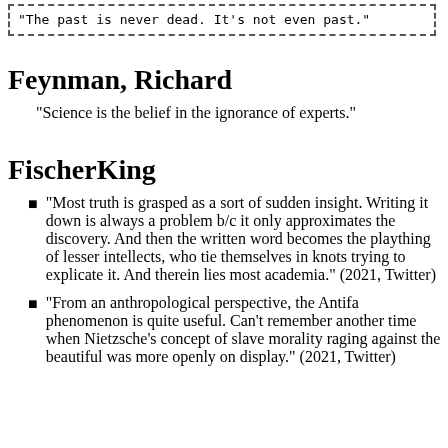"The past is never dead. It’s not even past."
Feynman, Richard
"Science is the belief in the ignorance of experts."
FischerKing
"Most truth is grasped as a sort of sudden insight. Writing it down is always a problem b/c it only approximates the discovery. And then the written word becomes the plaything of lesser intellects, who tie themselves in knots trying to explicate it. And therein lies most academia." (2021, Twitter)
"From an anthropological perspective, the Antifa phenomenon is quite useful. Can’t remember another time when Nietzsche’s concept of slave morality raging against the beautiful was more openly on display." (2021, Twitter)